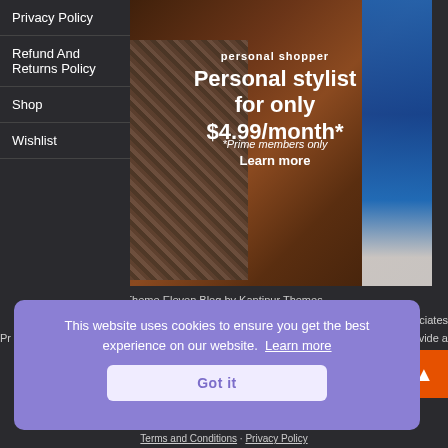Privacy Policy
Refund And Returns Policy
Shop
Wishlist
[Figure (photo): Amazon Personal Shopper advertisement showing clothes hanging on a rack in a wardrobe. Text overlay reads: 'personal shopper - Personal stylist for only $4.99/month* - Learn more - *Prime members only']
Theme Eleven Blog by Kantipur Themes
This website uses cookies to ensure you get the best experience on our website. Learn more
Got it
Terms and Conditions · Privacy Policy